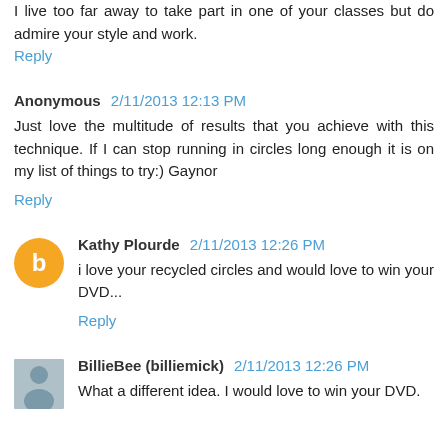I live too far away to take part in one of your classes but do admire your style and work.
Reply
Anonymous 2/11/2013 12:13 PM
Just love the multitude of results that you achieve with this technique. If I can stop running in circles long enough it is on my list of things to try:) Gaynor
Reply
Kathy Plourde 2/11/2013 12:26 PM
i love your recycled circles and would love to win your DVD...
Reply
BillieBee (billiemick) 2/11/2013 12:26 PM
What a different idea. I would love to win your DVD.